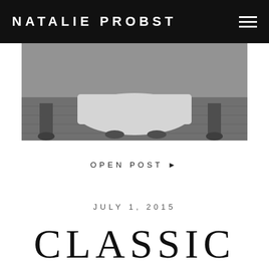NATALIE PROBST
[Figure (photo): Black and white photograph showing the bottom of a wedding dress and bridesmaids' feet in heels on a wooden floor]
OPEN POST ▶
JULY 1, 2015
CLASSIC